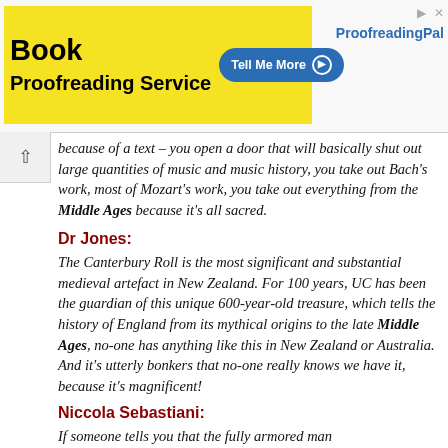[Figure (other): Book Proofreading Service advertisement banner with yellow background, 'Tell Me More' button, and ProofreadingPal brand name]
because of a text – you open a door that will basically shut out large quantities of music and music history, you take out Bach's work, most of Mozart's work, you take out everything from the Middle Ages because it's all sacred.
Dr Jones:
The Canterbury Roll is the most significant and substantial medieval artefact in New Zealand. For 100 years, UC has been the guardian of this unique 600-year-old treasure, which tells the history of England from its mythical origins to the late Middle Ages, no-one has anything like this in New Zealand or Australia. And it's utterly bonkers that no-one really knows we have it, because it's magnificent!
Niccola Sebastiani:
If someone tells you that the fully armored man of the Middle Ages...